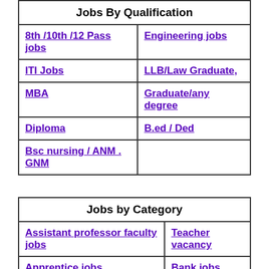| Jobs By Qualification |
| --- |
| 8th /10th /12 Pass jobs | Engineering jobs |
| ITI Jobs | LLB/Law Graduate, |
| MBA | Graduate/any degree |
| Diploma | B.ed / Ded |
| Bsc nursing / ANM .
GNM |  |
| Jobs by Category |
| --- |
| Assistant professor faculty jobs | Teacher vacancy |
| Apprentice jobs | Bank jobs |